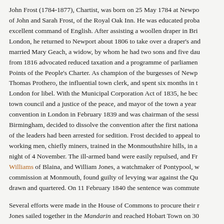John Frost (1784-1877), Chartist, was born on 25 May 1784 at Newport, son of John and Sarah Frost, of the Royal Oak Inn. He was educated probably and had excellent command of English. After assisting a woollen draper in Bristol and London, he returned to Newport about 1806 to take over a draper's and married Mary Geach, a widow, by whom he had two sons and five daughters. He from 1816 advocated reduced taxation and a programme of parliamentary reform — the Six Points of the People's Charter. As champion of the burgesses of Newport, he opposed Thomas Prothero, the influential town clerk, and spent six months in the King's Bench, London for libel. With the Municipal Corporation Act of 1835, he became a member of the town council and a justice of the peace, and mayor of the town a year later. He attended the convention in London in February 1839 and was chairman of the session moved to Birmingham, decided to dissolve the convention after the first national petition and some of the leaders had been arrested for sedition. Frost decided to appeal to the arms of the working men, chiefly miners, trained in the Monmouthshire hills, in an attack on Newport by night of 4 November. The ill-armed band were easily repulsed, and Frost with Zephaniah Williams of Blaina, and William Jones, a watchmaker of Pontypool, were tried by special commission at Monmouth, found guilty of levying war against the Queen, and sentenced to be drawn and quartered. On 11 February 1840 the sentence was commuted...
Several efforts were made in the House of Commons to procure their release. Frost and Jones sailed together in the Mandarin and reached Hobart Town on 30...